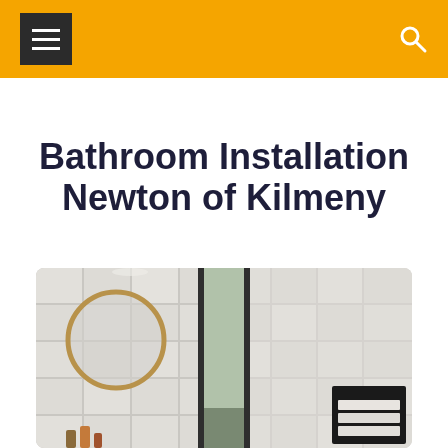Navigation bar with menu and search icons
Bathroom Installation Newton of Kilmeny
[Figure (photo): A modern bathroom interior showing white subway tiles, a round mirror with gold/brass frame on the left side, a dark framed doorway or window in the center, and a built-in black niche shelf with rolled white towels on the right side.]